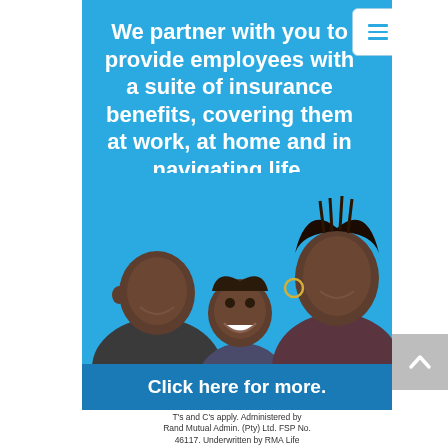[Figure (infographic): Insurance advertisement with blue background showing a family (man, child, woman smiling together), a headline, CTA button, menu icon, and footer disclaimer text]
We partner with you to provide employees with a suite of insurance benefits, covering them at work, at home and in navigating life.
Click here for more.
T's and C's apply. Administered by Rand Mutual Admin. (Pty) Ltd. FSP No. 46117. Underwritten by RMA Life